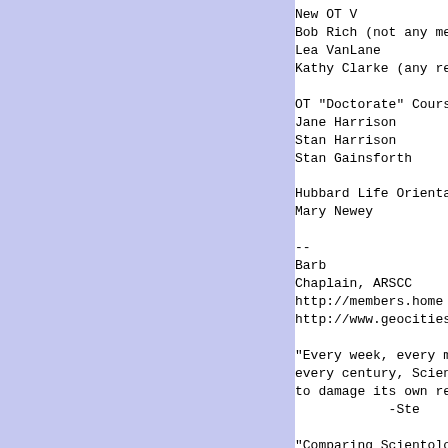[Figure (other): Light blue/lavender colored rectangular panel on the left side of the page]
New OT V
Bob Rich (not any me
Lea VanLane
Kathy Clarke (any re

OT "Doctorate" Cours
Jane Harrison
Stan Harrison
Stan Gainsforth

Hubbard Life Orienta
Mary Newey

--
Barb
Chaplain, ARSCC
http://members.home
http://www.geocities

"Every week, every m
every century, Scien
to damage its own re
            -Ste

"Comparing Scientolo
insult to bikers eve
Scientology."
            -ex-